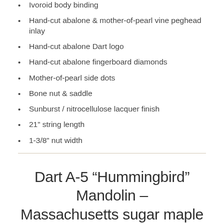Ivoroid body binding
Hand-cut abalone & mother-of-pearl vine peghead inlay
Hand-cut abalone Dart logo
Hand-cut abalone fingerboard diamonds
Mother-of-pearl side dots
Bone nut & saddle
Sunburst / nitrocellulose lacquer finish
21" string length
1-3/8" nut width
Dart A-5 “Hummingbird” Mandolin – Massachusetts sugar maple & Sitka spruce (2021)